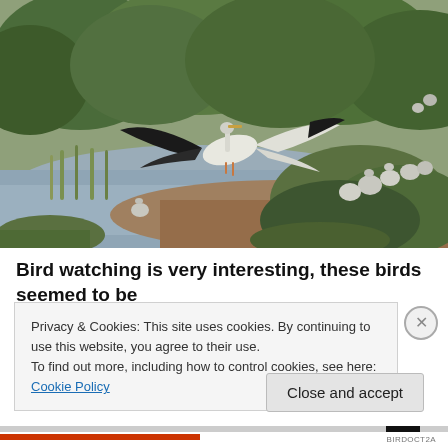[Figure (photo): Birds in a wetland/marsh habitat. A large stork or similar wading bird with black and white plumage is in flight with wings spread. Multiple white ibis or similar birds are perched on vegetation and brush piles along a water body. Dense green forest visible in background.]
Bird watching is very interesting, these birds seemed to be
Privacy & Cookies: This site uses cookies. By continuing to use this website, you agree to their use.
To find out more, including how to control cookies, see here: Cookie Policy
Close and accept